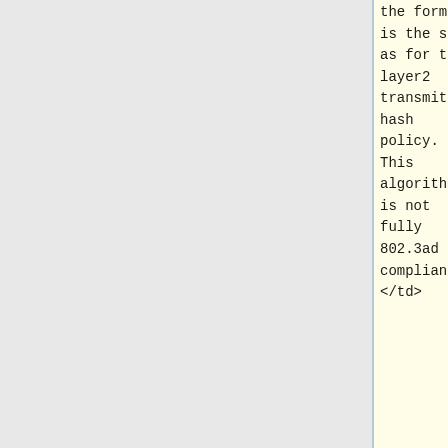the formula
is the same
as for the
layer2
transmit
hash
policy.
This
algorithm
is not
fully
802.3ad
compliant.
</td>
a more
balanced
distribution
 of traffic
than layer2
alone,
especially
in
environments
 where a
layer3
gateway
device is
required to
reach most
destinations
. This
algorithm
is 802.3ad
compliant.